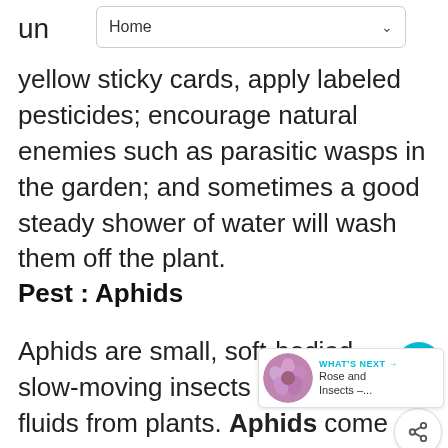Home
un… yellow sticky cards, apply labeled pesticides; encourage natural enemies such as parasitic wasps in the garden; and sometimes a good steady shower of water will wash them off the plant.
Pest : Aphids
Aphids are small, soft-bodied, slow-moving insects that suck fluids from plants. Aphids come in many colors, ranging from green to brown to black, and they may have wings. They attack a wide range of plant species, causing stunting, deformed leaves and buds. They can transmit harmful plant viruses with